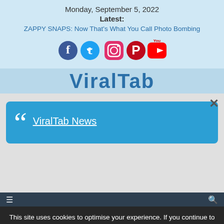Monday, September 5, 2022
Latest:
ZAPPY SNAPS: Now That’s What You Call Photo Bombing
[Figure (other): Social media icons: Facebook, Twitter, Instagram, Pinterest, YouTube]
ViralTab
×
[Figure (other): Blue quote box with large quotation mark and link text ViralTab News]
This site uses cookies to optimise your experience. If you continue to use this site we will assume that you agree to the continued use of cookies.
Yes | Yes, but no third party cookies
Animals
Mom the...ar
S...A...